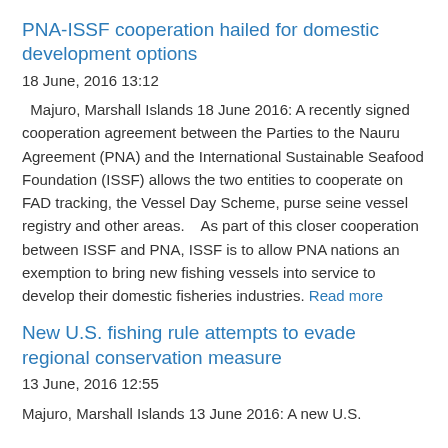PNA-ISSF cooperation hailed for domestic development options
18 June, 2016 13:12
Majuro, Marshall Islands 18 June 2016: A recently signed cooperation agreement between the Parties to the Nauru Agreement (PNA) and the International Sustainable Seafood Foundation (ISSF) allows the two entities to cooperate on FAD tracking, the Vessel Day Scheme, purse seine vessel registry and other areas.    As part of this closer cooperation between ISSF and PNA, ISSF is to allow PNA nations an exemption to bring new fishing vessels into service to develop their domestic fisheries industries. Read more
New U.S. fishing rule attempts to evade regional conservation measure
13 June, 2016 12:55
Majuro, Marshall Islands 13 June 2016: A new U.S.